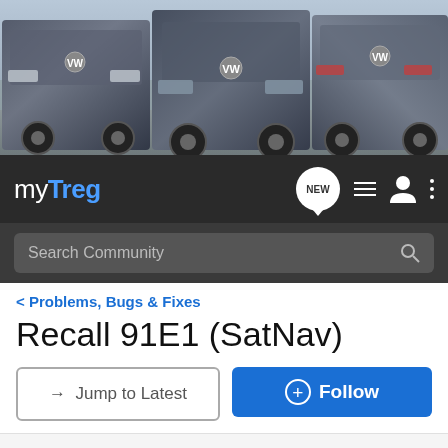[Figure (photo): Three dark VW Touareg SUVs parked outdoors, shown from front, center, and rear angles]
myTreg
Search Community
< Problems, Bugs & Fixes
Recall 91E1 (SatNav)
→ Jump to Latest
+ Follow
1 - 10 of 10 Posts
ACJ · Registered
Joined Jul 3, 2008 · 8 Posts